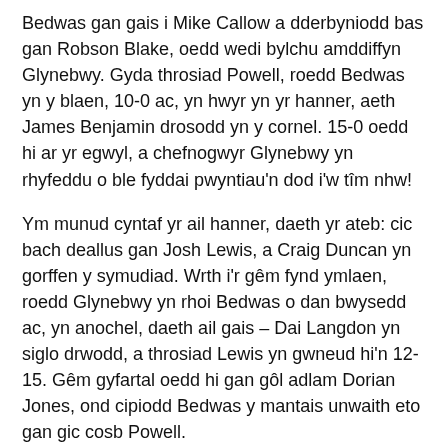Bedwas gan gais i Mike Callow a dderbyniodd bas gan Robson Blake, oedd wedi bylchu amddiffyn Glynebwy. Gyda throsiad Powell, roedd Bedwas yn y blaen, 10-0 ac, yn hwyr yn yr hanner, aeth James Benjamin drosodd yn y cornel. 15-0 oedd hi ar yr egwyl, a chefnogwyr Glynebwy yn rhyfeddu o ble fyddai pwyntiau'n dod i'w tîm nhw!
Ym munud cyntaf yr ail hanner, daeth yr ateb: cic bach deallus gan Josh Lewis, a Craig Duncan yn gorffen y symudiad. Wrth i'r gêm fynd ymlaen, roedd Glynebwy yn rhoi Bedwas o dan bwysedd ac, yn anochel, daeth ail gais – Dai Langdon yn siglo drwodd, a throsiad Lewis yn gwneud hi'n 12-15. Gêm gyfartal oedd hi gan gôl adlam Dorian Jones, ond cipiodd Bedwas y mantais unwaith eto gan gic cosb Powell.
Daliodd Glynebwy ati, yn datblygu cymalau'n amyneddgar, a daeth cais i Rhys Clarke. Trosiodd Lewis, aeth Glynebwy ar y blaen am y tro cyntaf, a'r hyn oedd i'w weld yn amhosibl yn yr